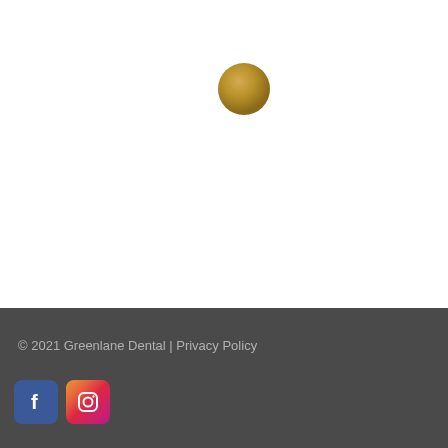[Figure (logo): Small gold/bronze circular dot logo centered in the upper white area of the page]
© 2021 Greenlane Dental | Privacy Policy
[Figure (other): Social media icons: Facebook (blue square with f) and Instagram (gradient square with camera icon)]